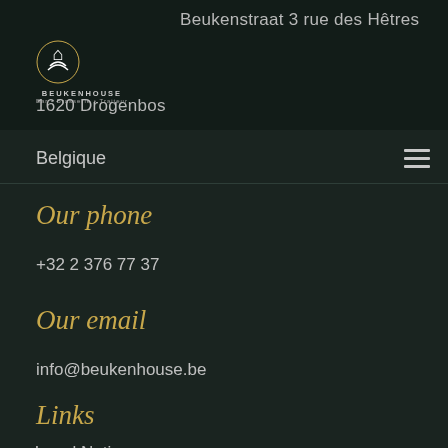Beukenstraat 3 rue des Hêtres
BEUKENHOUSE
1620 Drogenbos
Belgique
Our phone
+32 2 376 77 37
Our email
info@beukenhouse.be
Links
Legal Notice